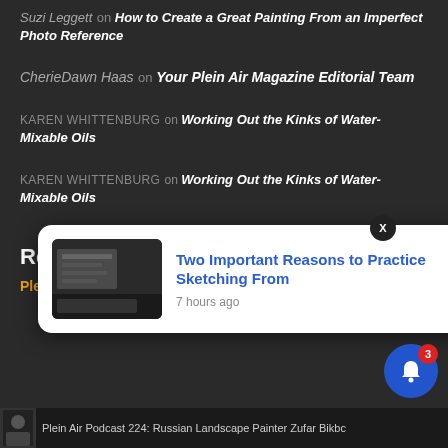Suzi Leggett on How to Create a Great Painting From an Imperfect Photo Reference
CherieDawn Haas on Your Plein Air Magazine Editorial Team
KAREN WHITTENBURG on Working Out the Kinks of Water-Mixable Oils
KAREN WHITTENBURG on Working Out the Kinks of Water-Mixable Oils
Resources
Plein Air Today - free weekly plein air art newsletter
[Figure (screenshot): Notification popup showing article: Two Important Reasons to Practice Sketching From, 7 hours ago, with thumbnail image]
Plein Air Podcast 224: Russian Landscape Painter Zufar Bikbc